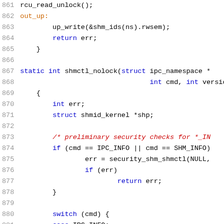[Figure (screenshot): C source code listing showing lines 861-882 of a Linux kernel shared memory control file, with syntax highlighting. Line numbers in gray on left, keywords in blue, comments in red italic, labels in orange, plain code in black.]